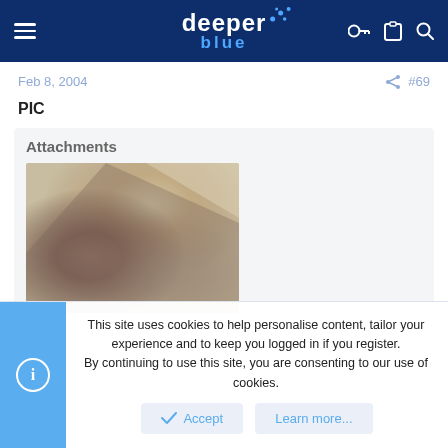deeper blue — website header with logo and navigation icons
Feb 8, 2004  #69
PIC
Attachments
[Figure (photo): Blurred close-up photograph attached to the post, showing indistinct shapes in beige, brown, and dark tones.]
This site uses cookies to help personalise content, tailor your experience and to keep you logged in if you register.
By continuing to use this site, you are consenting to our use of cookies.
Accept   Learn more...